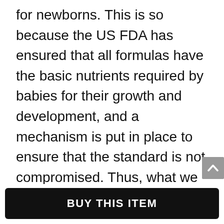for newborns. This is so because the US FDA has ensured that all formulas have the basic nutrients required by babies for their growth and development, and a mechanism is put in place to ensure that the standard is not compromised. Thus, what we have is only a different Enfamil formula for special cases but all of them contain the nutrients that babies require to grow and develop. Where your baby is tolerant to one Enfamil baby formula, that
BUY THIS ITEM